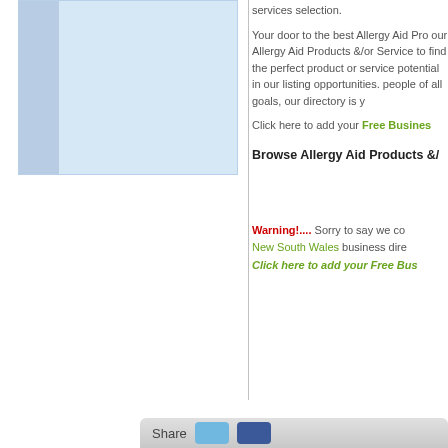[Figure (other): Light blue image placeholder box on the left panel]
services selection.
Your door to the best Allergy Aid Products &/or our Allergy Aid Products &/or Service to find the perfect product or service potential in our listing opportunities. people of all goals, our directory is y
Click here to add your Free Busines
Browse Allergy Aid Products &/
Warning!.... Sorry to say we co New South Wales business dire Click here to add your Free Bus